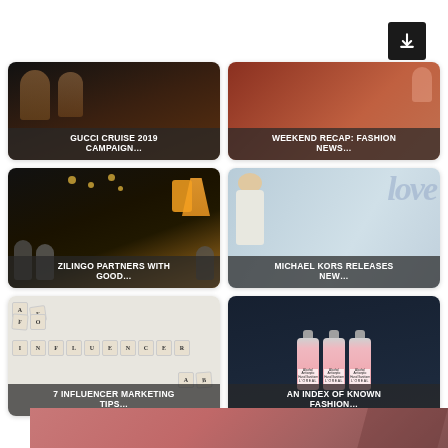[Figure (screenshot): Download button (dark square with down arrow icon) in top right corner]
[Figure (photo): Card: GUCCI CRUISE 2019 CAMPAIGN... - dark fashion photo with overlay text]
[Figure (photo): Card: WEEKEND RECAP: FASHION NEWS... - reddish photo with overlay text]
[Figure (illustration): Card: ZILINGO PARTNERS WITH GOOD... - dark illustration with orange dress and people]
[Figure (photo): Card: MICHAEL KORS RELEASES NEW... - light blue photo with person and 'love' text]
[Figure (photo): Card: 7 INFLUENCER MARKETING TIPS... - scrabble-tile influencer letters photo]
[Figure (photo): Card: AN INDEX OF KNOWN FASHION... - dark background with pink L'Oreal hand sanitizer bottles]
[Figure (photo): Bottom partial pink/rose banner image]